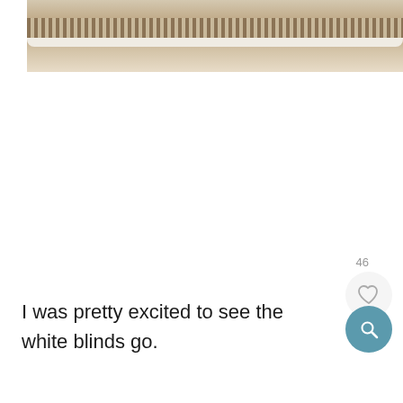[Figure (photo): Partial top view of a woven hat or basket with brown and white stripes, shown cropped at the top of the page against a white background.]
I was pretty excited to see the white blinds go.